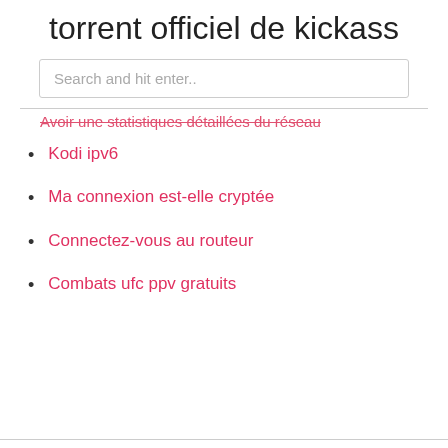torrent officiel de kickass
[Figure (screenshot): Search input box with placeholder text 'Search and hit enter..']
Avoir une statistiques détaillées du réseau
Kodi ipv6
Ma connexion est-elle cryptée
Connectez-vous au routeur
Combats ufc ppv gratuits